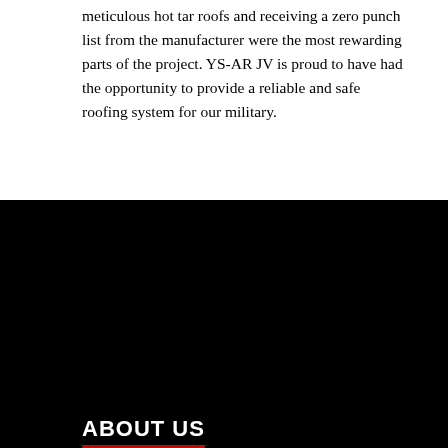meticulous hot tar roofs and receiving a zero punch list from the manufacturer were the most rewarding parts of the project. YS-AR JV is proud to have had the opportunity to provide a reliable and safe roofing system for our military.
ABOUT US
Established in 1983, Advanced Roofing Inc. is a full-service commercial roofing contractor specializing in roof replacements, repairs, and maintenance services for occupied buildings in Florida and the Caribbean